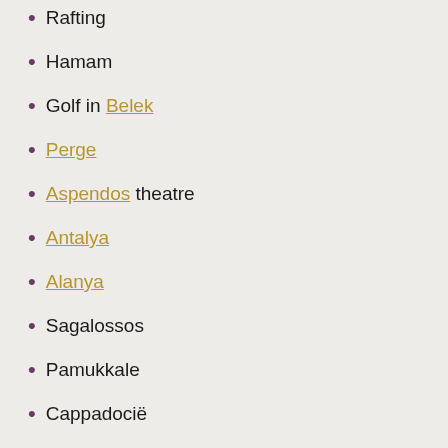Rafting
Hamam
Golf in Belek
Perge
Aspendos theatre
Antalya
Alanya
Sagalossos
Pamukkale
Cappadocië